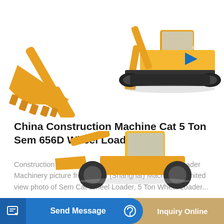[Figure (photo): Top portion of a yellow construction excavator on white background, showing the boom/bucket arm on the left and the full machine on the right with tracks]
China Construction Machine Cat 5 Ton Sem 656D Wheel Loader
Construction Machine Cat 5 Ton Sem 656D Wheel Loader Machinery picture from Mafal (Shanghai) Machinery Limited view photo of Sem Cat Wheel Loader, 5 Ton Wheel Loader...
Learn More
[Figure (photo): Bottom portion of a yellow wheel loader construction machine on white background]
Send Message
Inquiry Online